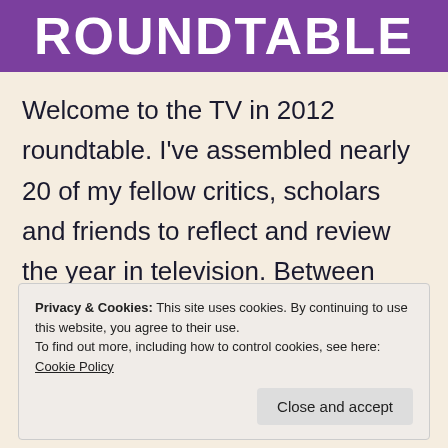ROUNDTABLE
Welcome to the TV in 2012 roundtable. I've assembled nearly 20 of my fellow critics, scholars and friends to reflect and review the year in television. Between now and the end of the year, the group will discuss various topics covering the highs, the lows
Privacy & Cookies: This site uses cookies. By continuing to use this website, you agree to their use.
To find out more, including how to control cookies, see here: Cookie Policy
Close and accept